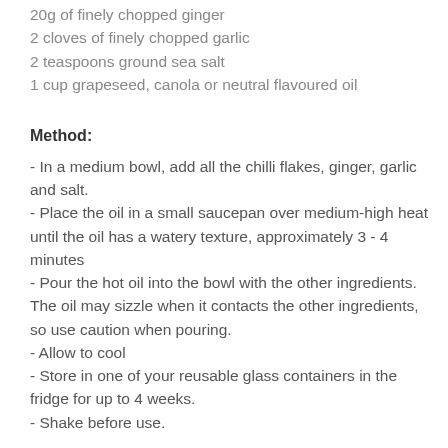20g of finely chopped ginger
2 cloves of finely chopped garlic
2 teaspoons ground sea salt
1 cup grapeseed, canola or neutral flavoured oil
Method:
- In a medium bowl, add all the chilli flakes, ginger, garlic and salt.
- Place the oil in a small saucepan over medium-high heat until the oil has a watery texture, approximately 3 - 4 minutes
- Pour the hot oil into the bowl with the other ingredients. The oil may sizzle when it contacts the other ingredients, so use caution when pouring.
- Allow to cool
- Store in one of your reusable glass containers in the fridge for up to 4 weeks.
- Shake before use.